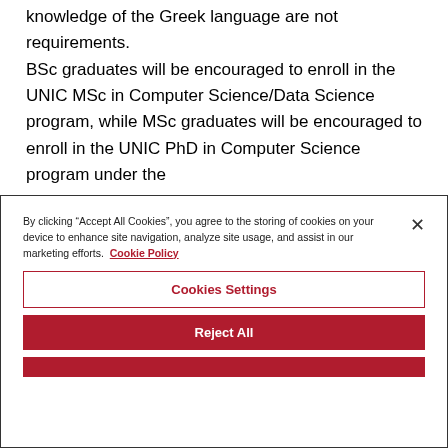knowledge of the Greek language are not requirements. BSc graduates will be encouraged to enroll in the UNIC MSc in Computer Science/Data Science program, while MSc graduates will be encouraged to enroll in the UNIC PhD in Computer Science program under the
By clicking “Accept All Cookies”, you agree to the storing of cookies on your device to enhance site navigation, analyze site usage, and assist in our marketing efforts. Cookie Policy
Cookies Settings
Reject All